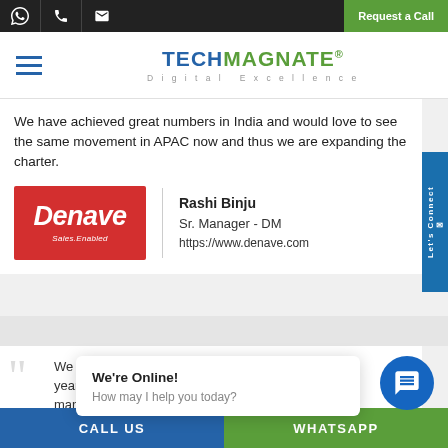TechMagnate® Digital Excellence — Navigation header with hamburger menu and top bar icons (WhatsApp, phone, email) and Request a Call button
We have achieved great numbers in India and would love to see the same movement in APAC now and thus we are expanding the charter.
[Figure (logo): Denave logo — red background with white italic bold text 'Denave' and tagline 'Sales.Enabled']
Rashi Binju
Sr. Manager - DM
https://www.denave.com
We have been... for years and planning... many more.
[Figure (screenshot): Chat popup: 'We're Online! How may I help you today?' with blue chat circle icon]
CALL US    WHATSAPP